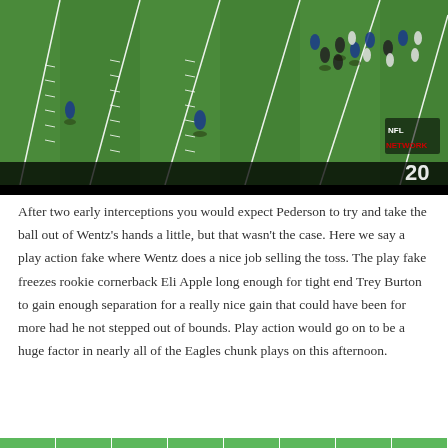[Figure (screenshot): Aerial view of an NFL football game in progress, showing players on a green field with white yard lines. The NFL Network logo is visible in the bottom right corner near the 20-yard line marker.]
After two early interceptions you would expect Pederson to try and take the ball out of Wentz's hands a little, but that wasn't the case. Here we say a play action fake where Wentz does a nice job selling the toss. The play fake freezes rookie cornerback Eli Apple long enough for tight end Trey Burton to gain enough separation for a really nice gain that could have been for more had he not stepped out of bounds. Play action would go on to be a huge factor in nearly all of the Eagles chunk plays on this afternoon.